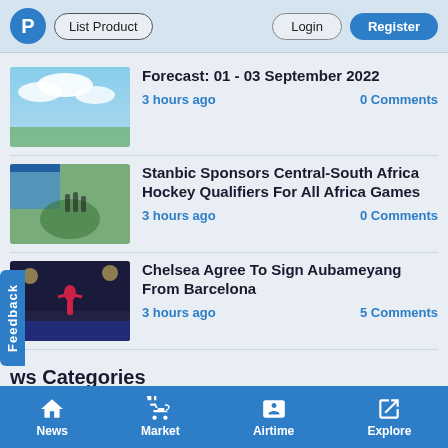P | List Product | Login | Register
Forecast: 01 - 03 September 2022
3 hours ago    0 Comments
Stanbic Sponsors Central-South Africa Hockey Qualifiers For All Africa Games
3 hours ago    0 Comments
Chelsea Agree To Sign Aubameyang From Barcelona
3 hours ago    5 Comments
News Categories
Lifestyle
Health
Religion
News | Market | Airtime | Explore